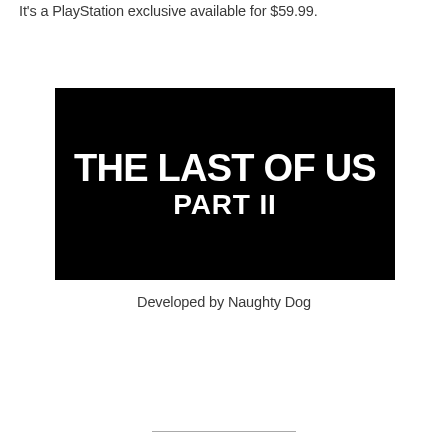It's a PlayStation exclusive available for $59.99.
[Figure (photo): Black background image showing the game title 'THE LAST OF US PART II' in bold white uppercase text]
Developed by Naughty Dog